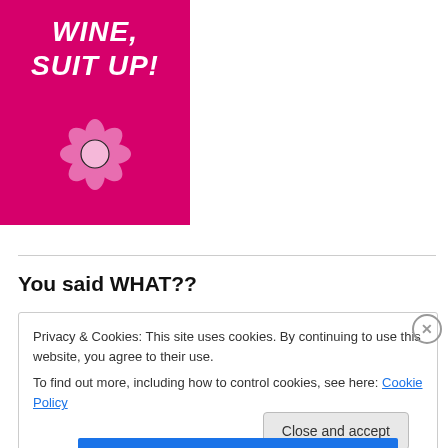[Figure (illustration): Bright pink greeting card with white bold italic text reading 'WINE, SUIT UP!' and a cartoon pink flower illustration at the bottom center]
You said WHAT??
Privacy & Cookies: This site uses cookies. By continuing to use this website, you agree to their use.
To find out more, including how to control cookies, see here: Cookie Policy
Close and accept